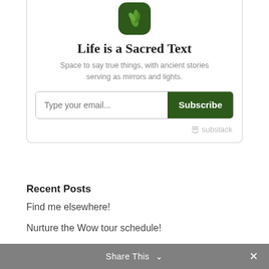[Figure (logo): Dark green rounded square logo with leaf/plant illustration for 'Life is a Sacred Text' publication]
Life is a Sacred Text
Space to say true things, with ancient stories serving as mirrors and lights.
[Figure (screenshot): Email subscription widget with 'Type your email...' input field and green 'Subscribe' button]
substack
Recent Posts
Find me elsewhere!
Nurture the Wow tour schedule!
Nurture the Wow
New ELI Talk on Parenting as a Spiritual
Share This ∨  ✕